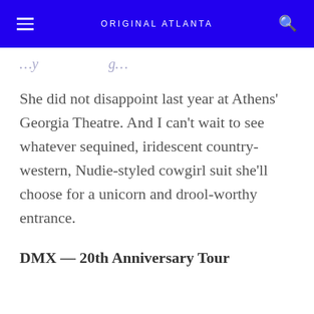ORIGINAL ATLANTA
She did not disappoint last year at Athens' Georgia Theatre. And I can't wait to see whatever sequined, iridescent country-western, Nudie-styled cowgirl suit she'll choose for a unicorn and drool-worthy entrance.
DMX — 20th Anniversary Tour